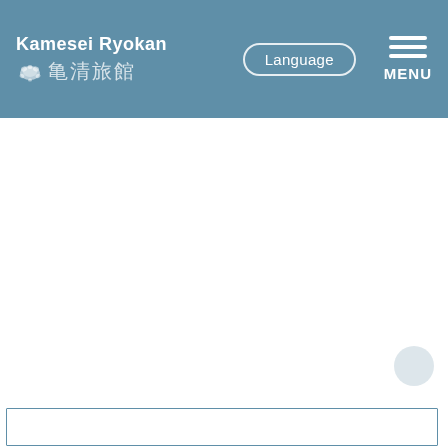Kamesei Ryokan 亀清旅館
[Figure (screenshot): Website header of Kamesei Ryokan with logo, Japanese characters, Language button, and hamburger menu with MENU label on a steel-blue background. Below is a mostly white content area with a partial bordered box at the bottom.]